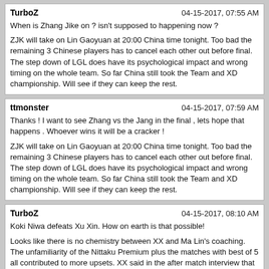TurboZ | 04-15-2017, 07:55 AM
When is Zhang Jike on ? isn't supposed to happening now ?
ZJK will take on Lin Gaoyuan at 20:00 China time tonight. Too bad the remaining 3 Chinese players has to cancel each other out before final. The step down of LGL does have its psychological impact and wrong timing on the whole team. So far China still took the Team and XD championship. Will see if they can keep the rest.
ttmonster | 04-15-2017, 07:59 AM
Thanks ! I want to see Zhang vs the Jang in the final , lets hope that happens . Whoever wins it will be a cracker !
ZJK will take on Lin Gaoyuan at 20:00 China time tonight. Too bad the remaining 3 Chinese players has to cancel each other out before final. The step down of LGL does have its psychological impact and wrong timing on the whole team. So far China still took the Team and XD championship. Will see if they can keep the rest.
TurboZ | 04-15-2017, 08:10 AM
Koki Niwa defeats Xu Xin. How on earth is that possible!
Looks like there is no chemistry between XX and Ma Lin's coaching. The unfamiliarity of the Nittaku Premium plus the matches with best of 5 all contributed to more upsets. XX said in the after match interview that he was playing badly seeing he is the only Chinese in his half and pressure is high on him. He failed to take game 1 and 3 after leading is the main reason of the loss.
Tony's Table Tennis | 04-15-2017, 08:34 AM
Miu is really becoming a great contender to be world champion/grand slam.